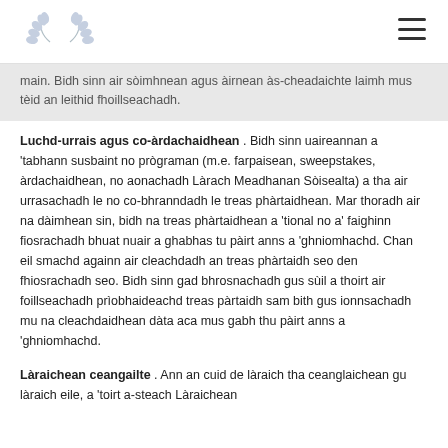[Logo and navigation menu]
main. Bidh sinn air sòimhnean agus àirnean às-cheadaichte laimh mus tèid an leithid fhoillseachadh.
Luchd-urrais agus co-àrdachaidhean . Bidh sinn uaireannan a 'tabhann susbaint no prògraman (m.e. farpaisean, sweepstakes, àrdachaidhean, no aonachadh Làrach Meadhanan Sòisealta) a tha air urrasachadh le no co-bhranndadh le treas phàrtaidhean. Mar thoradh air na dàimhean sin, bidh na treas phàrtaidhean a 'tional no a' faighinn fiosrachadh bhuat nuair a ghabhas tu pàirt anns a 'ghniomhachd. Chan eil smachd againn air cleachdadh an treas phàrtaidh seo den fhiosrachadh seo. Bidh sinn gad bhrosnachadh gus sùil a thoirt air foillseachadh prìobhaideachd treas pàrtaidh sam bith gus ionnsachadh mu na cleachdaidhean dàta aca mus gabh thu pàirt anns a 'ghniomhachd.
Làraichean ceangailte . Ann an cuid de làraich tha ceanglaichean gu làraich eile, a 'toirt a-steach Làraichean